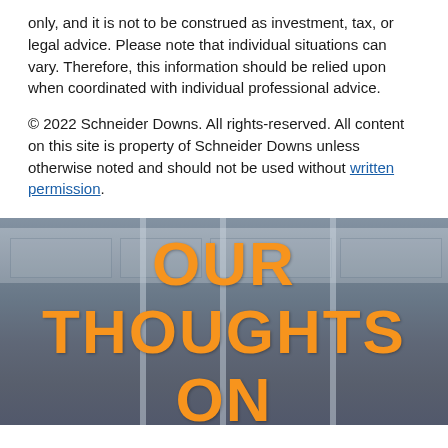only, and it is not to be construed as investment, tax, or legal advice. Please note that individual situations can vary. Therefore, this information should be relied upon when coordinated with individual professional advice.
© 2022 Schneider Downs. All rights-reserved. All content on this site is property of Schneider Downs unless otherwise noted and should not be used without written permission.
[Figure (photo): Office interior with glass partitions and ceiling tiles, overlaid with orange text reading 'OUR THOUGHTS ON']
OUR THOUGHTS ON